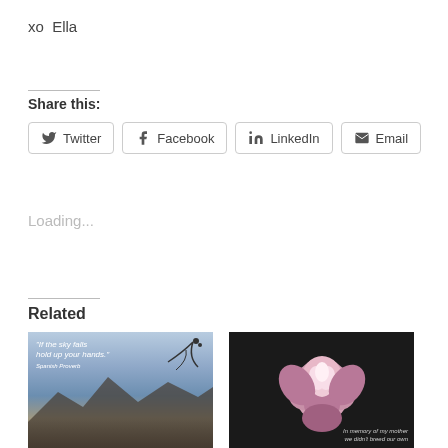xo  Ella
Share this:
Twitter  Facebook  LinkedIn  Email
Loading...
Related
[Figure (photo): Landscape photo with text overlay: "If the sky falls hold up your hands." with an author attribution]
[Figure (photo): Close-up photo of a pink rose on dark background with text overlay at bottom right]